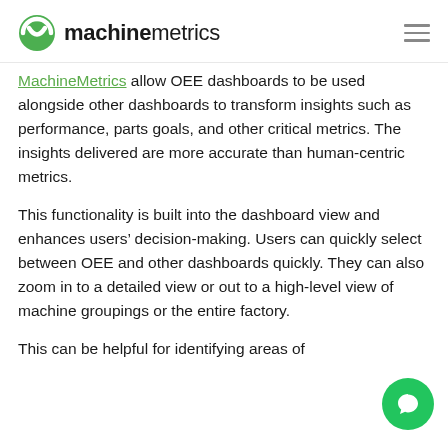machinemetrics
MachineMetrics allow OEE dashboards to be used alongside other dashboards to transform insights such as performance, parts goals, and other critical metrics. The insights delivered are more accurate than human-centric metrics.
This functionality is built into the dashboard view and enhances users’ decision-making. Users can quickly select between OEE and other dashboards quickly. They can also zoom in to a detailed view or out to a high-level view of machine groupings or the entire factory.
This can be helpful for identifying areas of